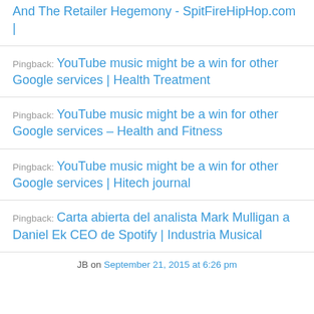And The Retailer Hegemony - SpitFireHipHop.com |
Pingback: YouTube music might be a win for other Google services | Health Treatment
Pingback: YouTube music might be a win for other Google services – Health and Fitness
Pingback: YouTube music might be a win for other Google services | Hitech journal
Pingback: Carta abierta del analista Mark Mulligan a Daniel Ek CEO de Spotify | Industria Musical
JB on September 21, 2015 at 6:26 pm